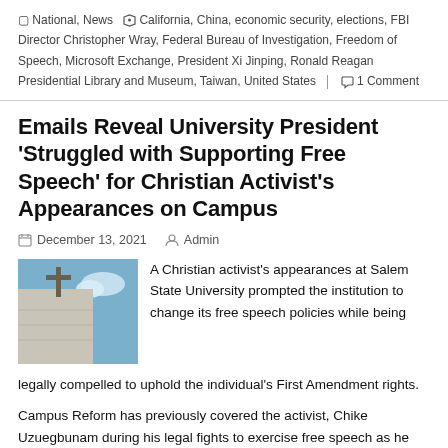National, News | California, China, economic security, elections, FBI Director Christopher Wray, Federal Bureau of Investigation, Freedom of Speech, Microsoft Exchange, President Xi Jinping, Ronald Reagan Presidential Library and Museum, Taiwan, United States | 1 Comment
Emails Reveal University President 'Struggled with Supporting Free Speech' for Christian Activist's Appearances on Campus
December 13, 2021   Admin
[Figure (photo): Photo of a church or building with a cross on top against a blue sky]
A Christian activist's appearances at Salem State University prompted the institution to change its free speech policies while being legally compelled to uphold the individual's First Amendment rights.
Campus Reform has previously covered the activist, Chike Uzuegbunam during his legal fights to exercise free speech as he publicly promotes his religious views, which have come